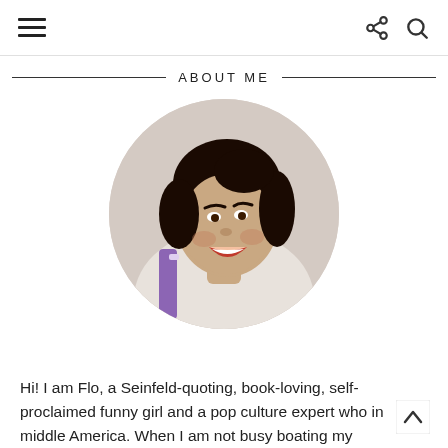Navigation header with hamburger menu, share icon, and search icon
ABOUT ME
[Figure (photo): Circular portrait photo of a smiling young woman with dark hair pulled back, wearing a cream/white turtleneck sweater. She is looking to the side and laughing. A purple object is visible in the background.]
Hi! I am Flo, a Seinfeld-quoting, book-loving, self-proclaimed funny girl and a pop culture expert who in middle America. When I am not busy boating my